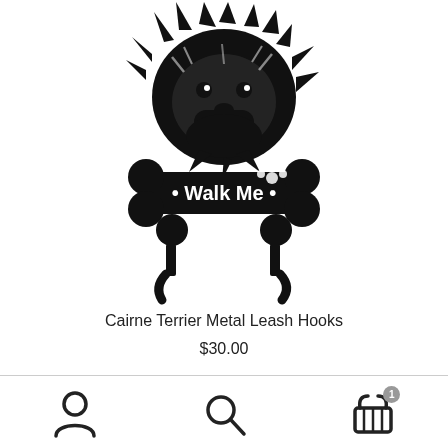[Figure (photo): Black metal wall hook shaped like a Cairn Terrier dog with a bone-shaped bar reading '• Walk Me •' and two hooks at the bottom, product photo on white background]
Cairne Terrier Metal Leash Hooks
$30.00
[Figure (infographic): Bottom navigation bar with three icons: person/account icon, search/magnifying glass icon, and shopping basket icon with a badge showing '1']